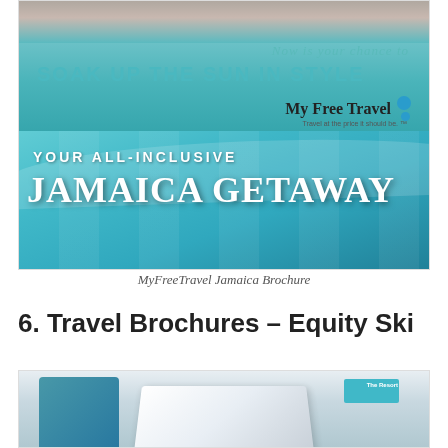[Figure (photo): MyFreeTravel Jamaica Brochure cover showing turquoise pool water with text 'Now is your chance to SOAK UP THE SUN IN STYLE' and 'YOUR ALL-INCLUSIVE JAMAICA GETAWAY' with My Free Travel logo]
MyFreeTravel Jamaica Brochure
6. Travel Brochures – Equity Ski
[Figure (photo): Partial view of an open ski travel brochure showing snowy mountain scenery and a skier, with a cyan 'The Resort' section tab visible]